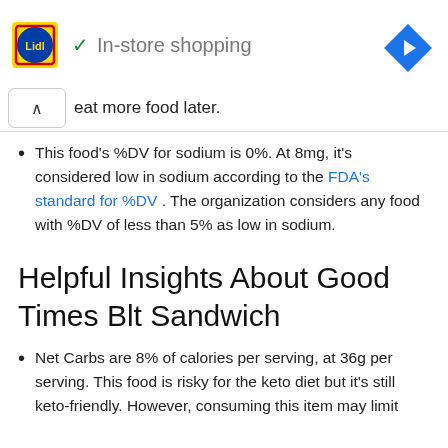[Figure (logo): Lidl logo (yellow square with blue LiDL text and red circle) with blue checkmark and 'In-store shopping' text and blue navigation diamond icon]
eat more food later.
This food's %DV for sodium is 0%. At 8mg, it's considered low in sodium according to the FDA's standard for %DV. The organization considers any food with %DV of less than 5% as low in sodium.
Helpful Insights About Good Times Blt Sandwich
Net Carbs are 8% of calories per serving, at 36g per serving. This food is risky for the keto diet but it's still keto-friendly. However, consuming this item may limit